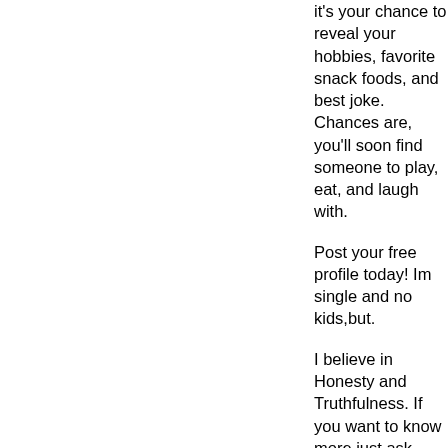it's your chance to reveal your hobbies, favorite snack foods, and best joke. Chances are, you'll soon find someone to play, eat, and laugh with.
Post your free profile today! Im single and no kids,but.
I believe in Honesty and Truthfulness. If you want to know more,just ask.